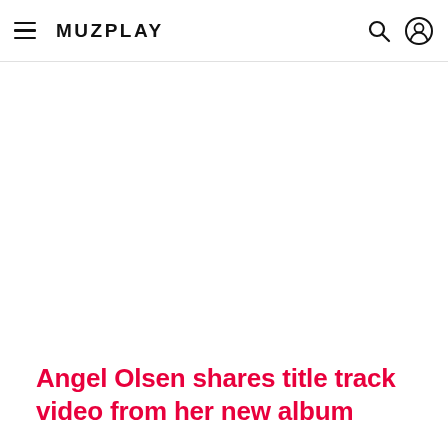MUZPLAY
[Figure (other): Large white/blank image placeholder area for article featured image]
Angel Olsen shares title track video from her new album